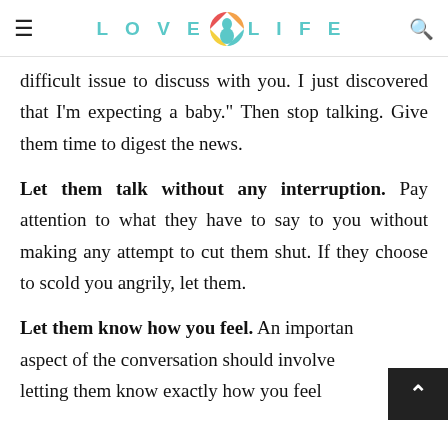LOVE LIFE
difficult issue to discuss with you. I just discovered that I'm expecting a baby." Then stop talking. Give them time to digest the news.
Let them talk without any interruption. Pay attention to what they have to say to you without making any attempt to cut them shut. If they choose to scold you angrily, let them.
Let them know how you feel. An important aspect of the conversation should involve letting them know exactly how you feel